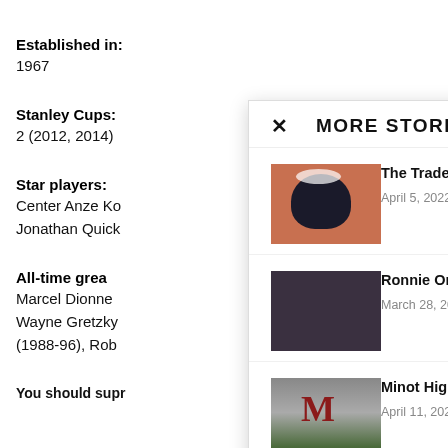Established in:
1967
Stanley Cups:
2 (2012, 2014)
Star players:
Center Anze Ko
Jonathan Quick
All-time grea
Marcel Dionne
Wayne Gretzky
(1988-96), Rob
× MORE STORIES
[Figure (photo): Basketball player close-up photo]
The Trade That Transformed The Blazers
April 5, 2022
[Figure (photo): Couple photo - Ronnie Ortiz-Magro and Saffire Matos]
Ronnie Ortiz-Magro, Saffire Matos' Rare Date
March 28, 2022
[Figure (photo): Soccer player photo with Minot High M logo]
Minot High Roundup | News, Sports, Jobs
April 11, 2022
You should supr
You love the glitz and glam of